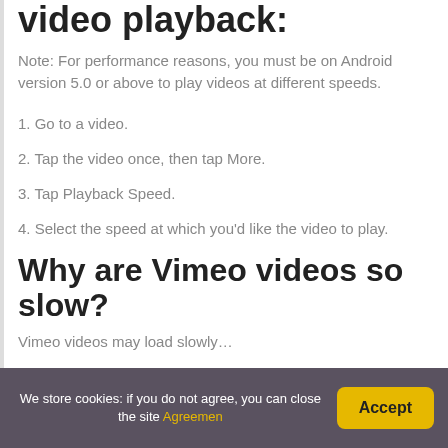video playback:
Note: For performance reasons, you must be on Android version 5.0 or above to play videos at different speeds.
1. Go to a video.
2. Tap the video once, then tap More.
3. Tap Playback Speed.
4. Select the speed at which you'd like the video to play.
Why are Vimeo videos so slow?
Vimeo videos may load slowly...
We store cookies: if you do not agree, you can close the site Agreemen